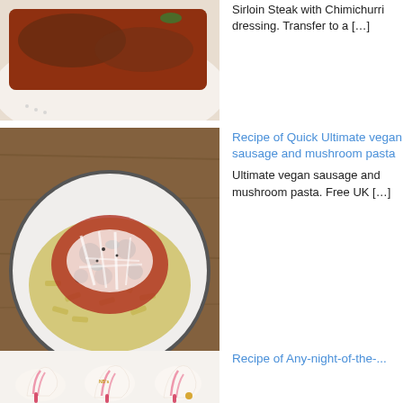[Figure (photo): Photo of steak dish, partially cropped, on a white plate with red sauce]
Sirloin Steak with Chimichurri dressing. Transfer to a [...]
[Figure (photo): Overhead photo of vegan sausage and mushroom pasta with melted cheese on a white plate, on wooden surface]
Recipe of Quick Ultimate vegan sausage and mushroom pasta
Ultimate vegan sausage and mushroom pasta. Free UK [...]
[Figure (photo): Photo of swirled cream/frosting desserts on a white surface with candy cane decorations]
Recipe of Any-night-of-the-...